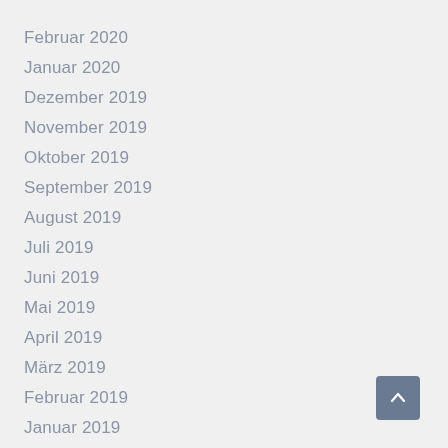Februar 2020
Januar 2020
Dezember 2019
November 2019
Oktober 2019
September 2019
August 2019
Juli 2019
Juni 2019
Mai 2019
April 2019
März 2019
Februar 2019
Januar 2019